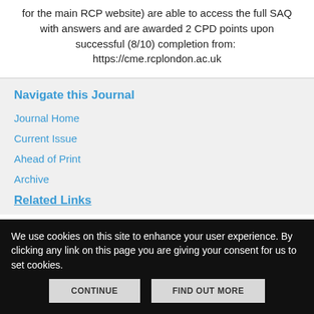for the main RCP website) are able to access the full SAQ with answers and are awarded 2 CPD points upon successful (8/10) completion from:  https://cme.rcplondon.ac.uk
Navigate this Journal
Journal Home
Current Issue
Ahead of Print
Archive
Related Links
We use cookies on this site to enhance your user experience. By clicking any link on this page you are giving your consent for us to set cookies.